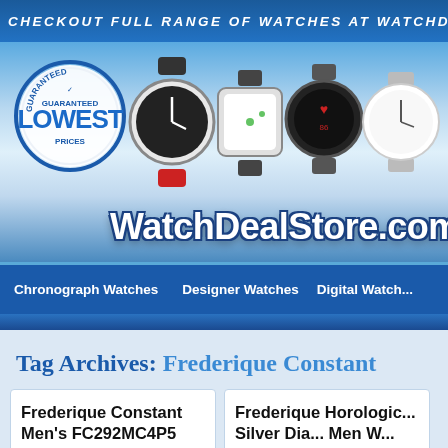CHECKOUT FULL RANGE OF WATCHES AT WATCHDEA...
[Figure (screenshot): WatchDealStore.com banner with watches and Guaranteed Lowest Prices badge]
Chronograph Watches | Designer Watches | Digital Watch...
Tag Archives: Frederique Constant
Frederique Constant Men's FC292MC4P5 Persuasion Brown Strap Chronograph Watch
Frederique Horologic Silver Dia... Men W...